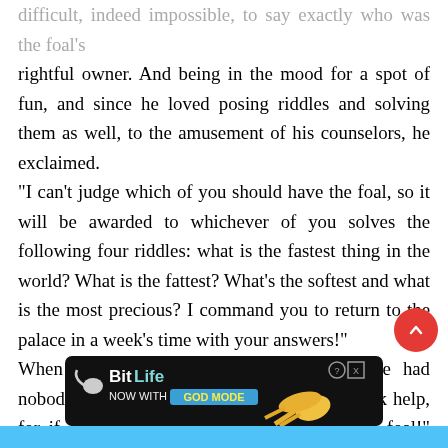difficult, indeed impossible, to say exactly who was the foal's rightful owner. And being in the mood for a spot of fun, and since he loved posing riddles and solving them as well, to the amusement of his counselors, he exclaimed. “I can’t judge which of you should have the foal, so it will be awarded to whichever of you solves the following four riddles: what is the fastest thing in the world? What is the fattest? What’s the softest and what is the most precious? I command you to return to the palace in a week’s time with your answers!” When Dimitri reached home, he realized he had nobody to help him. “Well, I’ll just have to seek help, for if I can’t solve these riddles, I’ll lose the foal!” Then he remembered
[Figure (screenshot): BitLife advertisement banner: black background, BitLife logo with sperm icon, text 'NOW WITH GOD MODE' in teal button with yellow text, hand pointing finger graphic on right side, help and close (X) buttons in top right corner.]